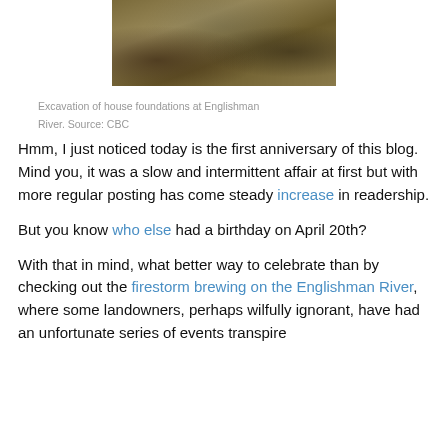[Figure (photo): Photograph of excavation of house foundations at Englishman River, showing mounds of dirt and debris on dry grass]
Excavation of house foundations at Englishman River. Source: CBC
Hmm, I just noticed today is the first anniversary of this blog.  Mind you, it was a slow and intermittent affair at first but with more regular posting has come steady increase in readership.
But you know who else had a birthday on April 20th?
With that in mind, what better way to celebrate than by checking out the firestorm brewing on the Englishman River, where some landowners, perhaps wilfully ignorant, have had an unfortunate series of events transpire